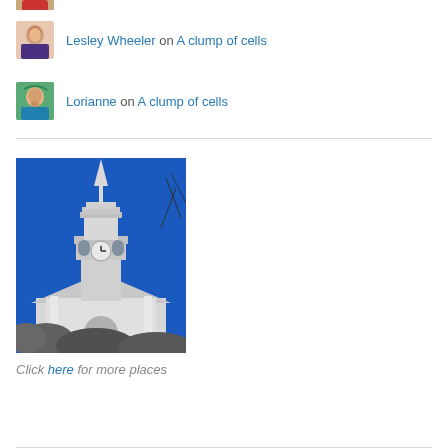[Figure (photo): Avatar thumbnail of a woman partially visible at the top]
Lesley Wheeler on A clump of cells
Lorianne on A clump of cells
[Figure (photo): Photograph of a white church steeple with clock tower against a bright blue sky, with bare tree branches visible]
Click here for more places